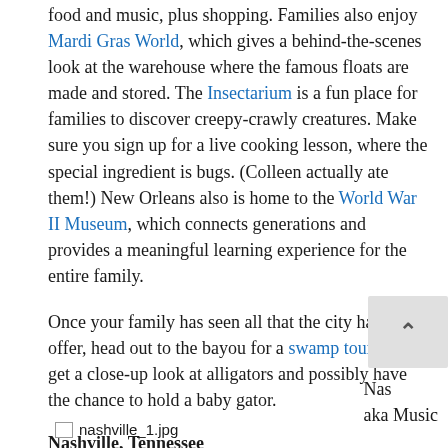food and music, plus shopping. Families also enjoy Mardi Gras World, which gives a behind-the-scenes look at the warehouse where the famous floats are made and stored. The Insectarium is a fun place for families to discover creepy-crawly creatures. Make sure you sign up for a live cooking lesson, where the special ingredient is bugs. (Colleen actually ate them!) New Orleans also is home to the World War II Museum, which connects generations and provides a meaningful learning experience for the entire family.
Once your family has seen all that the city has to offer, head out to the bayou for a swamp tour. You'll get a close-up look at alligators and possibly have the chance to hold a baby gator.
Nashville, Tennessee
[Figure (photo): Broken image placeholder labeled nashville_1.jpg]
Nas aka Music